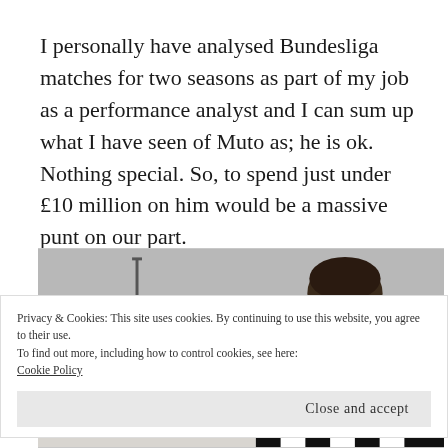I personally have analysed Bundesliga matches for two seasons as part of my job as a performance analyst and I can sum up what I have seen of Muto as; he is ok. Nothing special. So, to spend just under £10 million on him would be a massive punt on our part.
[Figure (photo): Partial photo of a person wearing a black and white striped jersey, viewed from behind/side, with dark hair visible at top]
Privacy & Cookies: This site uses cookies. By continuing to use this website, you agree to their use.
To find out more, including how to control cookies, see here:
Cookie Policy